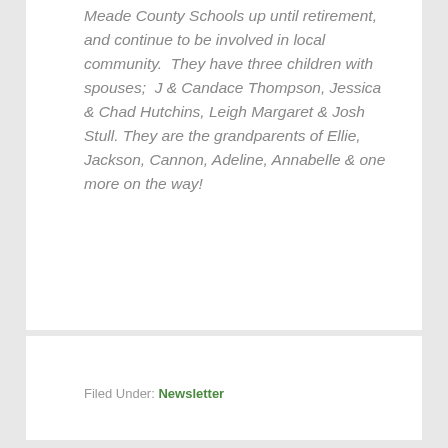Meade County Schools up until retirement, and continue to be involved in local community.  They have three children with spouses;  J & Candace Thompson, Jessica & Chad Hutchins, Leigh Margaret & Josh Stull.  They are the grandparents of Ellie, Jackson, Cannon, Adeline, Annabelle & one more on the way!
Filed Under: Newsletter